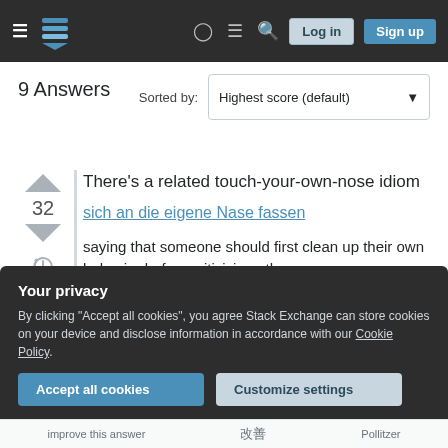≡ [logo] ? ≡ 🔍 Log in Sign up
9 Answers
Sorted by: Highest score (default)
There's a related touch-your-own-nose idiom
32
sich an die eigene Nase fassen
saying that someone should first clean up their own behavior before criticizing others.
Your privacy
By clicking "Accept all cookies", you agree Stack Exchange can store cookies on your device and disclose information in accordance with our Cookie Policy.
Accept all cookies
Customize settings
improve this answer 改善 Pollitzer